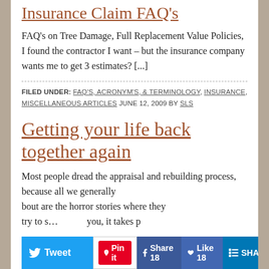Insurance Claim FAQ's
FAQ's on Tree Damage, Full Replacement Value Policies, I found the contractor I want – but the insurance company wants me to get 3 estimates? [...]
FILED UNDER: FAQ'S, ACRONYM'S, & TERMINOLOGY, INSURANCE, MISCELLANEOUS ARTICLES JUNE 12, 2009 BY SLS
Getting your life back together again
Most people dread the appraisal and rebuilding process, because all we generally about are the horror stories where they try to s... you, it takes p...